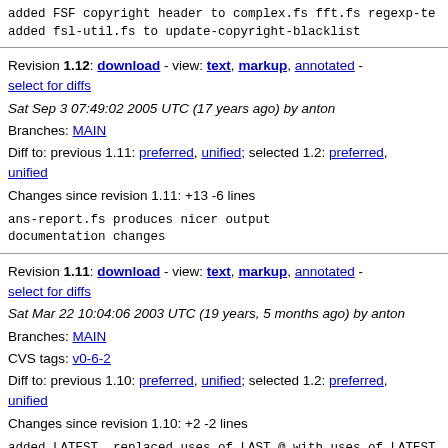added FSF copyright header to complex.fs fft.fs regexp-te
added fsl-util.fs to update-copyright-blacklist
Revision 1.12: download - view: text, markup, annotated - select for diffs
Sat Sep 3 07:49:02 2005 UTC (17 years ago) by anton
Branches: MAIN
Diff to: previous 1.11: preferred, unified; selected 1.2: preferred, unified
Changes since revision 1.11: +13 -6 lines
ans-report.fs produces nicer output
documentation changes
Revision 1.11: download - view: text, markup, annotated - select for diffs
Sat Mar 22 10:04:06 2003 UTC (19 years, 5 months ago) by anton
Branches: MAIN
CVS tags: v0-6-2
Diff to: previous 1.10: preferred, unified; selected 1.2: preferred, unified
Changes since revision 1.10: +2 -2 lines
added LATEST, replaced uses of LAST @ with uses of LATEST
renamed LASTXT to LATESTXT, and changed the uses
made >NAME the primary name for >HEAD